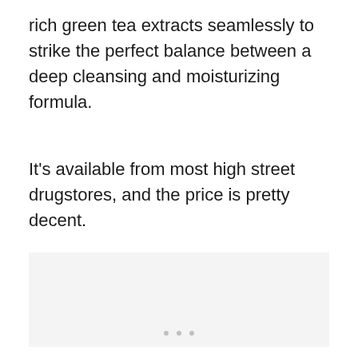rich green tea extracts seamlessly to strike the perfect balance between a deep cleansing and moisturizing formula.
It's available from most high street drugstores, and the price is pretty decent.
[Figure (photo): Placeholder image area with three small dots at the bottom center, light gray background]